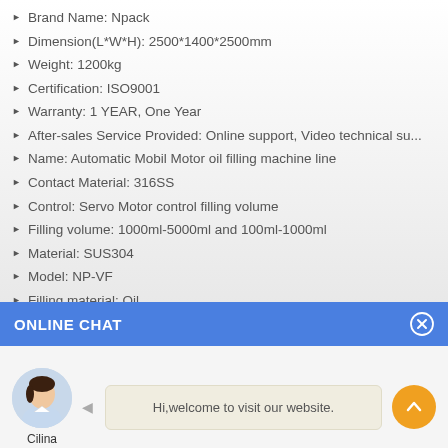Brand Name: Npack
Dimension(L*W*H): 2500*1400*2500mm
Weight: 1200kg
Certification: ISO9001
Warranty: 1 YEAR, One Year
After-sales Service Provided: Online support, Video technical su...
Name: Automatic Mobil Motor oil filling machine line
Contact Material: 316SS
Control: Servo Motor control filling volume
Filling volume: 1000ml-5000ml and 100ml-1000ml
Material: SUS304
Model: NP-VF
Filling material: Oil
ONLINE CHAT
[Figure (photo): Customer service avatar photo of a woman named Cilina]
Hi,welcome to visit our website.
Cilina